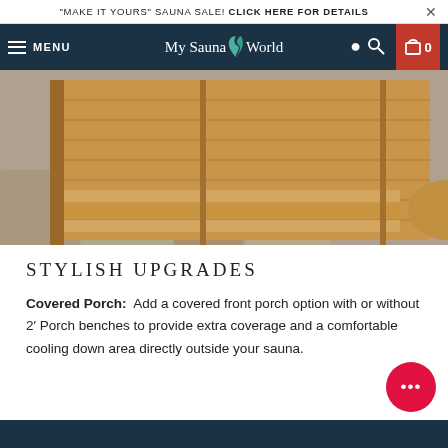"MAKE IT YOURS" SAUNA SALE! CLICK HERE FOR DETAILS
MENU | My Sauna World | 0
[Figure (photo): Close-up photo of wooden sauna steps/porch structure made of light cedar wood, showing slatted design on stone pavement]
STYLISH UPGRADES
Covered Porch: Add a covered front porch option with or without 2’ Porch benches to provide extra coverage and a comfortable cooling down area directly outside your sauna.